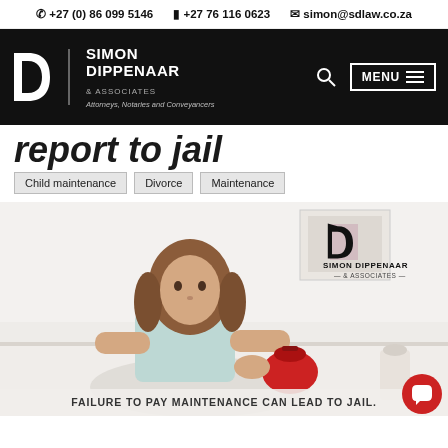☎ +27 (0) 86 099 5146   📱 +27 76 116 0623   ✉ simon@sdlaw.co.za
[Figure (logo): Simon Dippenaar & Associates law firm logo with navigation bar — black background, white 'D' logo, firm name, search icon, and MENU button]
report to jail
Child maintenance
Divorce
Maintenance
[Figure (photo): Young girl with brown hair sitting at a table handling a small red coin purse, with Simon Dippenaar & Associates logo overlay. Caption reads: FAILURE TO PAY MAINTENANCE CAN LEAD TO JAIL.]
FAILURE TO PAY MAINTENANCE CAN LEAD TO JAIL.